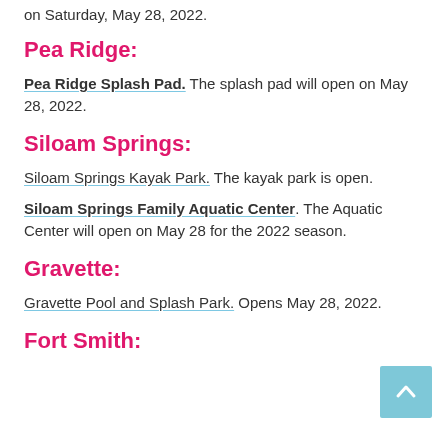on Saturday, May 28, 2022.
Pea Ridge:
Pea Ridge Splash Pad. The splash pad will open on May 28, 2022.
Siloam Springs:
Siloam Springs Kayak Park. The kayak park is open.
Siloam Springs Family Aquatic Center. The Aquatic Center will open on May 28 for the 2022 season.
Gravette:
Gravette Pool and Splash Park. Opens May 28, 2022.
Fort Smith: